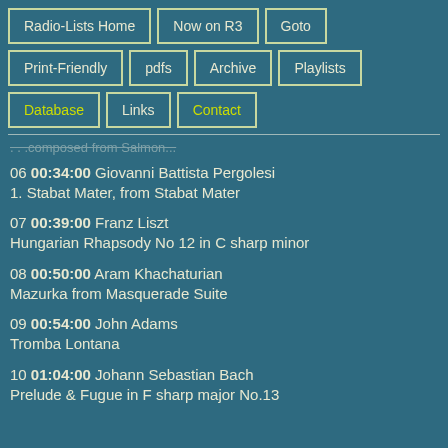Radio-Lists Home
Now on R3
Goto
Print-Friendly
pdfs
Archive
Playlists
Database
Links
Contact
...composed from Salmon...
06 00:34:00 Giovanni Battista Pergolesi
1. Stabat Mater, from Stabat Mater
07 00:39:00 Franz Liszt
Hungarian Rhapsody No 12 in C sharp minor
08 00:50:00 Aram Khachaturian
Mazurka from Masquerade Suite
09 00:54:00 John Adams
Tromba Lontana
10 01:04:00 Johann Sebastian Bach
Prelude & Fugue in F sharp major No.13